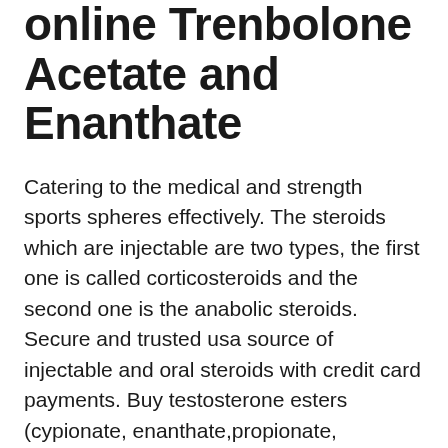online Trenbolone Acetate and Enanthate
Catering to the medical and strength sports spheres effectively. The steroids which are injectable are two types, the first one is called corticosteroids and the second one is the anabolic steroids. Secure and trusted usa source of injectable and oral steroids with credit card payments. Buy testosterone esters (cypionate, enanthate,propionate, sustanon 250), trenbolone, equipoise (boldenone), parabolan, anavar, deca, anadrol, and all other possible ped drugs without prescription. Köpa testosteron online testosterone acetate and enanthate, winstrol kopen nederland testosterone enanthate is versatile than testosterone cypionate, and it is more suitable for all levels of men including adults. Both drugs are a treatment for the